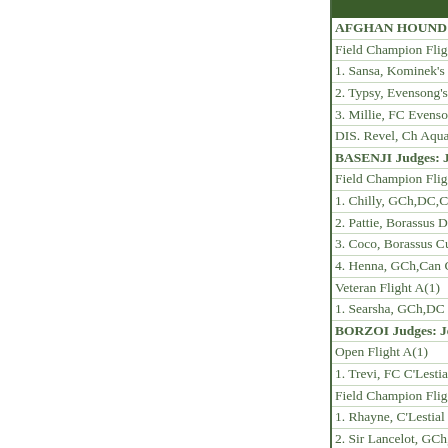AFGHAN HOUND J...
Field Champion Flig...
1. Sansa, Kominek's ...
2. Typsy, Evensong's
3. Millie, FC Evensor...
DIS. Revel, Ch Aqua...
BASENJI Judges: Jer...
Field Champion Flig...
1. Chilly, GCh,DC,Ca...
2. Pattie, Borassus Do...
3. Coco, Borassus Cu...
4. Henna, GCh,Can C...
Veteran Flight A(1)
1. Searsha, GCh,DC ...
BORZOI Judges: Jen...
Open Flight A(1)
1. Trevi, FC C'Lestia...
Field Champion Flig...
1. Rhayne, C'Lestial ...
2. Sir Lancelot, GCh,...
3. Weston, FC C'Lest...
GREYHOUND Jud...